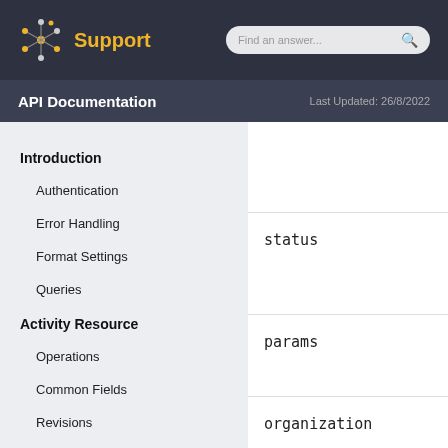Support
API Documentation  Last Updated: 26/8/2022
Introduction
Authentication
Error Handling
Format Settings
Queries
Activity Resource
Operations
Common Fields
Revisions
status
params
organization